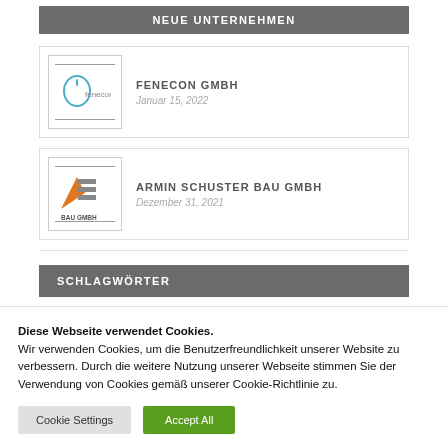NEUE UNTERNEHMEN
FENECON GMBH
Januar 15, 2022
ARMIN SCHUSTER BAU GMBH
Dezember 31, 2021
SCHLAGWÖRTER
Diese Webseite verwendet Cookies.
Wir verwenden Cookies, um die Benutzerfreundlichkeit unserer Website zu verbessern. Durch die weitere Nutzung unserer Webseite stimmen Sie der Verwendung von Cookies gemäß unserer Cookie-Richtlinie zu.